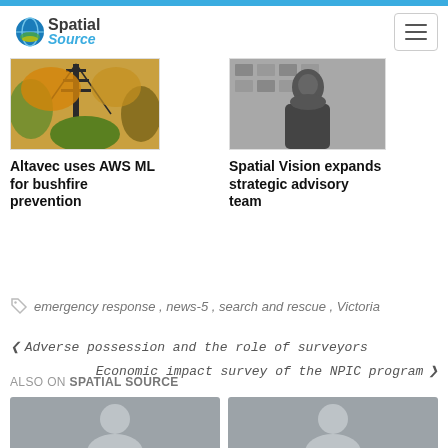Spatial Source
[Figure (photo): Photo of a transmission tower surrounded by autumn trees]
[Figure (photo): Black and white photo of a woman in professional attire]
Altavec uses AWS ML for bushfire prevention
Spatial Vision expands strategic advisory team
emergency response, news-5, search and rescue, Victoria
Adverse possession and the role of surveyors
Economic impact survey of the NPIC program
ALSO ON SPATIAL SOURCE
[Figure (photo): Avatar placeholder image]
[Figure (photo): Avatar placeholder image]